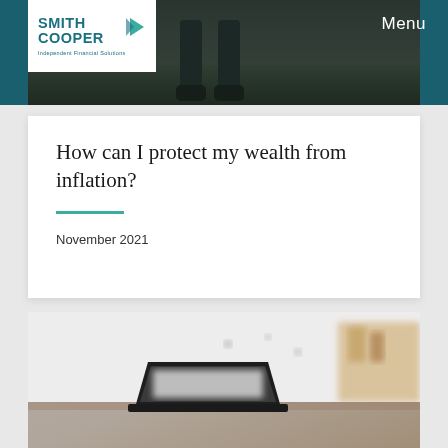Menu
[Figure (photo): Dark background photo showing legs/feet of a person standing on grass, used as hero banner image]
How can I protect my wealth from inflation?
November 2021
[Figure (photo): Blurred photo of a home office desk scene with a laptop computer in the foreground and shelves/objects in the background]